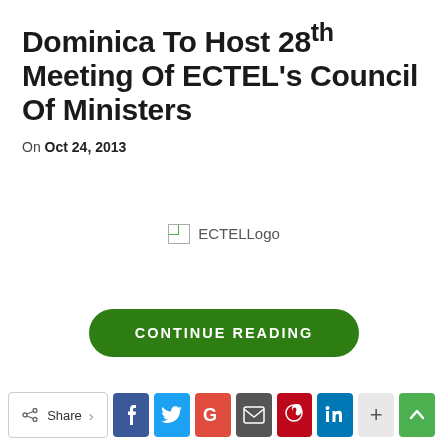Dominica To Host 28th Meeting Of ECTEL's Council Of Ministers
On Oct 24, 2013
[Figure (other): Broken image placeholder with alt text 'ECTELLogo']
CONTINUE READING
Share buttons: Share, Facebook, Twitter, Google+, Email, Pinterest, LinkedIn, Plus, Scroll-up